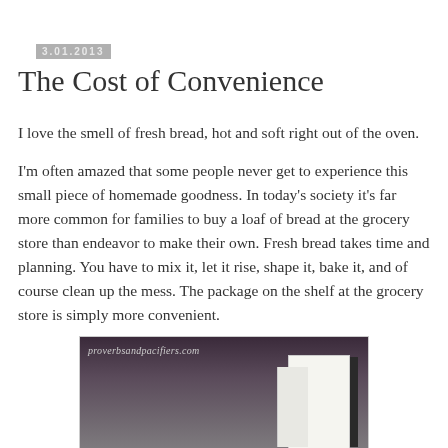3.01.2013
The Cost of Convenience
I love the smell of fresh bread, hot and soft right out of the oven.
I'm often amazed that some people never get to experience this small piece of homemade goodness. In today's society it's far more common for families to buy a loaf of bread at the grocery store than endeavor to make their own. Fresh bread takes time and planning. You have to mix it, let it rise, shape it, bake it, and of course clean up the mess. The package on the shelf at the grocery store is simply more convenient.
[Figure (photo): Photo of kitchen cabinets, white cabinet doors open, with watermark text 'proverbsandpacifiers.com']